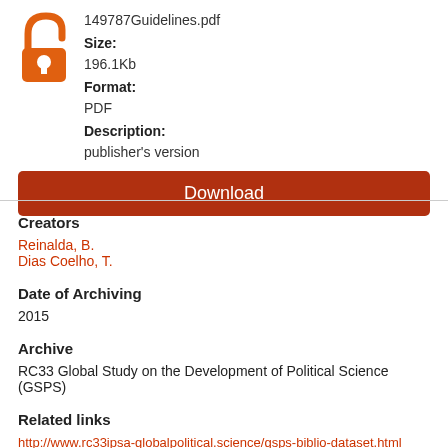[Figure (logo): Open access lock icon in orange]
149787Guidelines.pdf
Size:
196.1Kb
Format:
PDF
Description:
publisher's version
Download
Creators
Reinalda, B.
Dias Coelho, T.
Date of Archiving
2015
Archive
RC33 Global Study on the Development of Political Science (GSPS)
Related links
http://www.rc33ipsa-globalpolitical.science/gsps-biblio-dataset.html